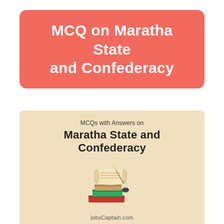MCQ on Maratha State and Confederacy
[Figure (illustration): Beige banner with text 'MCQs with Answers on Maratha State and Confederacy', a stack of old books and scrolls illustration, and the URL jobsCaptain.com at the bottom]